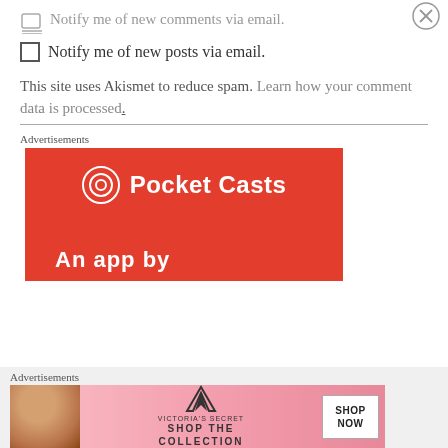Notify me of new comments via email.
Notify me of new posts via email.
This site uses Akismet to reduce spam. Learn how your comment data is processed.
Advertisements
[Figure (photo): Pocket Casts advertisement on red background with logo and 'An app by' text]
Advertisements
[Figure (photo): Victoria's Secret advertisement with model, logo, 'SHOP THE COLLECTION', and 'SHOP NOW' button]